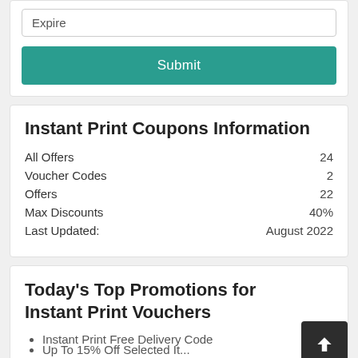Expire
Submit
Instant Print Coupons Information
All Offers	24
Voucher Codes	2
Offers	22
Max Discounts	40%
Last Updated:	August 2022
Today's Top Promotions for Instant Print Vouchers
Instant Print Free Delivery Code
Up To 15% Off Selected Items